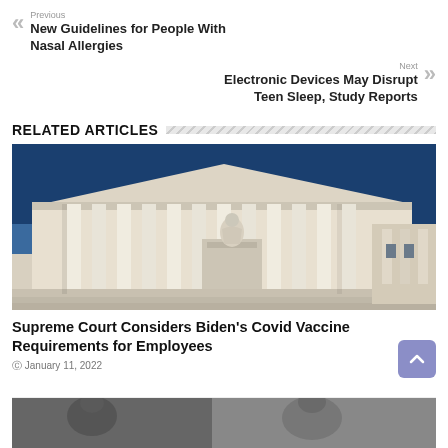Previous
New Guidelines for People With Nasal Allergies
Next
Electronic Devices May Disrupt Teen Sleep, Study Reports
RELATED ARTICLES
[Figure (photo): Photo of the U.S. Supreme Court building exterior, showing classical columns and a marble statue in the foreground against a blue sky.]
Supreme Court Considers Biden's Covid Vaccine Requirements for Employees
January 11, 2022